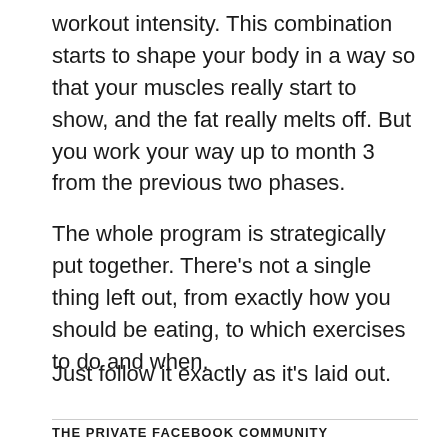workout intensity. This combination starts to shape your body in a way so that your muscles really start to show, and the fat really melts off. But you work your way up to month 3 from the previous two phases.
The whole program is strategically put together. There’s not a single thing left out, from exactly how you should be eating, to which exercises to do and when.
Just follow it exactly as it’s laid out.
THE PRIVATE FACEBOOK COMMUNITY